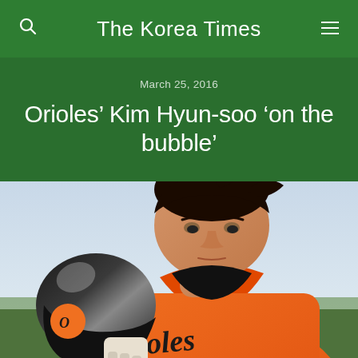The Korea Times
March 25, 2016
Orioles' Kim Hyun-soo 'on the bubble'
[Figure (photo): Baltimore Orioles player Kim Hyun-soo in orange jersey holding a black batting helmet, looking downward]